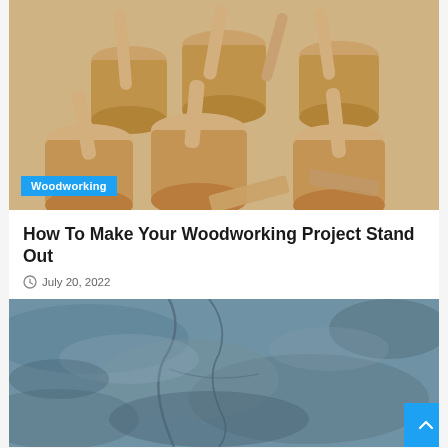[Figure (photo): Multiple unfinished wooden mortar and pestle sets arranged together, showing light tan/beige raw wood, photographed from above at an angle. A blue 'Woodworking' category badge overlays the bottom-left corner of the image.]
How To Make Your Woodworking Project Stand Out
July 20, 2022
[Figure (photo): Close-up texture of rough blue-gray stone or concrete surface with natural cracks and variations in tone.]